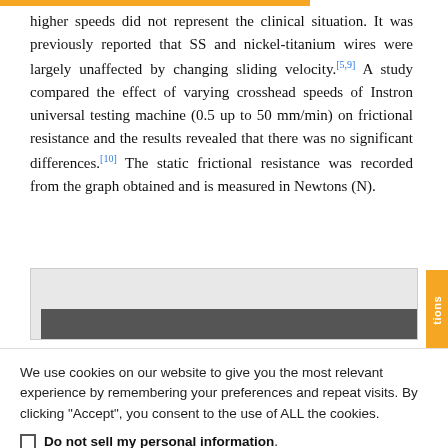higher speeds did not represent the clinical situation. It was previously reported that SS and nickel-titanium wires were largely unaffected by changing sliding velocity.[5,9] A study compared the effect of varying crosshead speeds of Instron universal testing machine (0.5 up to 50 mm/min) on frictional resistance and the results revealed that there was no significant differences.[10] The static frictional resistance was recorded from the graph obtained and is measured in Newtons (N).
[Figure (photo): Partial view of a laboratory or clinical image strip, partially obscured by cookie overlay]
We use cookies on our website to give you the most relevant experience by remembering your preferences and repeat visits. By clicking "Accept", you consent to the use of ALL the cookies.
Do not sell my personal information.